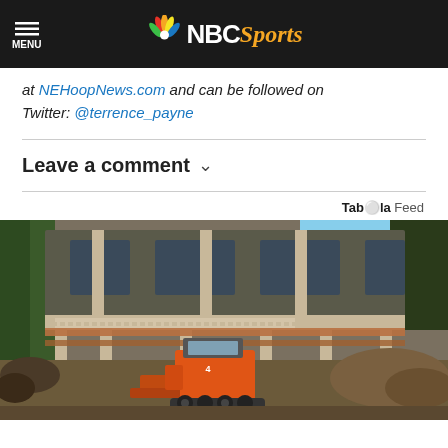MENU | NBC Sports
at NEHoopNews.com and can be followed on Twitter: @terrence_payne
Leave a comment
Taboola Feed
[Figure (photo): A house being lifted or constructed on supports with an orange compact excavator/loader machine working in the excavated dirt below the structure. Trees visible on the sides and blue sky in background.]